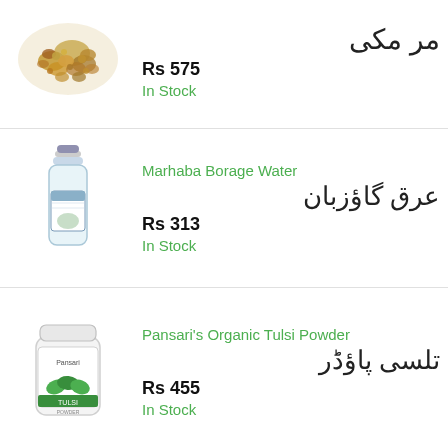[Figure (photo): Dried herbal product / resin pebbles shown from above]
مر مکی
Rs 575
In Stock
[Figure (photo): Clear glass bottle with purple label, Marhaba Borage Water]
Marhaba Borage Water
عرق گاؤزبان
Rs 313
In Stock
[Figure (photo): White plastic jar with green leaves, Pansari's Organic Tulsi Powder]
Pansari's Organic Tulsi Powder
تلسی پاؤڈر
Rs 455
In Stock